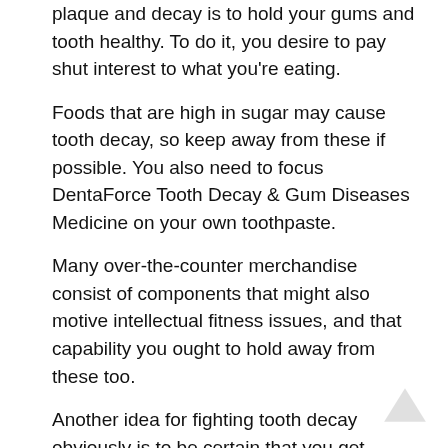plaque and decay is to hold your gums and tooth healthy. To do it, you desire to pay shut interest to what you're eating.
Foods that are high in sugar may cause tooth decay, so keep away from these if possible. You also need to focus DentaForce Tooth Decay & Gum Diseases Medicine on your own toothpaste.
Many over-the-counter merchandise consist of components that might also motive intellectual fitness issues, and that capability you ought to hold away from these too.
Another idea for fighting tooth decay obviously is to be certain that you get enough calcium in your diet plan.
DentaForce Customer Reviews – How